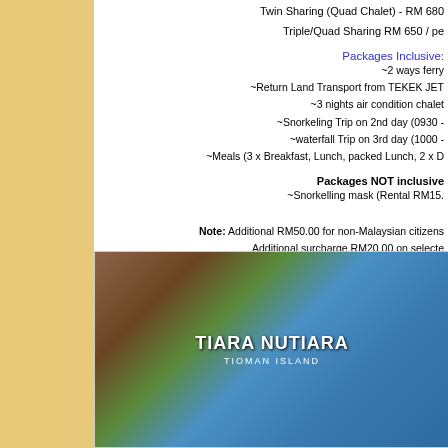Twin Sharing (Quad Chalet) - RM 680
Triple/Quad Sharing RM 650 / pe
Packages Inclusive:
~2 ways ferry
~Return Land Transport from TEKEK JET
~3 nights air condition chalet
~Snorkeling Trip on 2nd day (0930 -
~waterfall Trip on 3rd day (1000 -
~Meals (3 x Breakfast, Lunch, packed Lunch, 2 x D
Packages NOT inclusive
~Snorkelling mask (Rental RM15.
Note: Additional RM50.00 for non-Malaysian citizens. Additional surcharge RM20.00 on selecte
[Figure (photo): Photo of Tioman Island resort mural with colorful painting showing 'Tiara Nutiara' text and tropical motifs including fish and plants on a blue background with wooden structure visible]